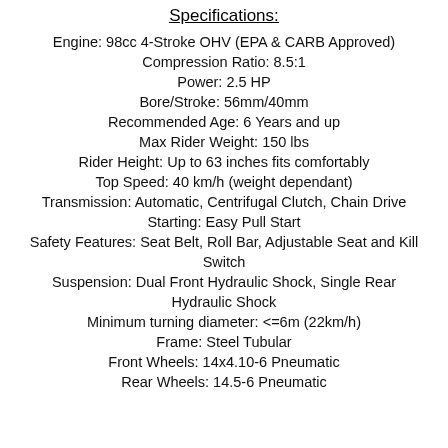Specifications:
Engine: 98cc 4-Stroke OHV (EPA & CARB Approved)
Compression Ratio: 8.5:1
Power: 2.5 HP
Bore/Stroke: 56mm/40mm
Recommended Age: 6 Years and up
Max Rider Weight: 150 lbs
Rider Height: Up to 63 inches fits comfortably
Top Speed: 40 km/h (weight dependant)
Transmission: Automatic, Centrifugal Clutch, Chain Drive
Starting: Easy Pull Start
Safety Features: Seat Belt, Roll Bar, Adjustable Seat and Kill Switch
Suspension: Dual Front Hydraulic Shock, Single Rear Hydraulic Shock
Minimum turning diameter: <=6m (22km/h)
Frame: Steel Tubular
Front Wheels: 14x4.10-6 Pneumatic
Rear Wheels: 14.5-6 Pneumatic